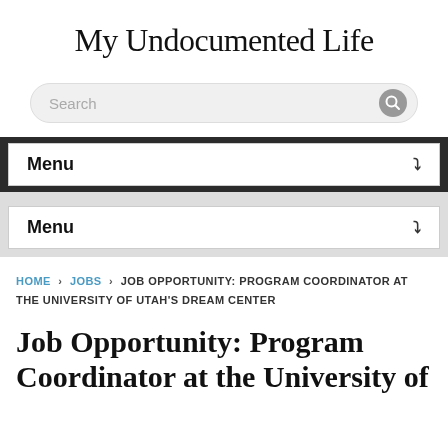My Undocumented Life
[Figure (screenshot): Search bar with search icon]
Menu
Menu
HOME › JOBS › JOB OPPORTUNITY: PROGRAM COORDINATOR AT THE UNIVERSITY OF UTAH'S DREAM CENTER
Job Opportunity: Program Coordinator at the University of